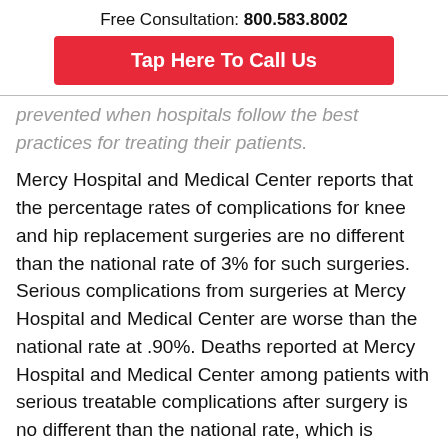Free Consultation: 800.583.8002
[Figure (other): Red call-to-action button with white text: Tap Here To Call Us]
prevented when hospitals follow the best practices for treating their patients.
Mercy Hospital and Medical Center reports that the percentage rates of complications for knee and hip replacement surgeries are no different than the national rate of 3% for such surgeries. Serious complications from surgeries at Mercy Hospital and Medical Center are worse than the national rate at .90%. Deaths reported at Mercy Hospital and Medical Center among patients with serious treatable complications after surgery is no different than the national rate, which is 136.48 per 1,000 patient